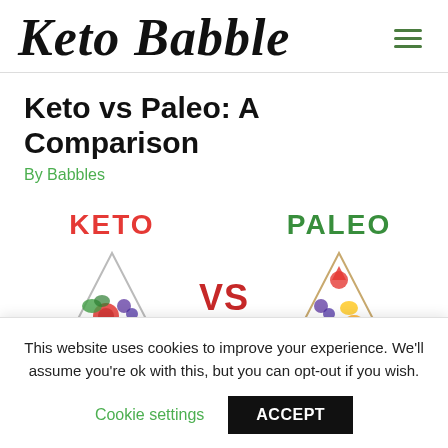Keto Babble
Keto vs Paleo: A Comparison
By Babbles
[Figure (illustration): Infographic comparing Keto and Paleo diets. Left side shows 'KETO' in red bold text above a triangle/pyramid icon with vegetables and foods. Center shows 'VS' in large red bold text. Right side shows 'PALEO' in green bold text above a similar triangle/pyramid icon with fruits and vegetables.]
This website uses cookies to improve your experience. We'll assume you're ok with this, but you can opt-out if you wish.
Cookie settings   ACCEPT